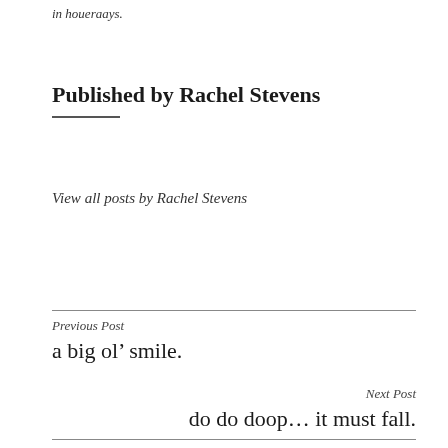in houeraays.
Published by Rachel Stevens
View all posts by Rachel Stevens
Previous Post
a big ol’ smile.
Next Post
do do doop… it must fall.